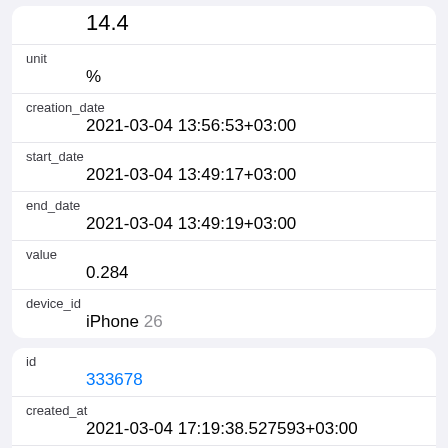|  | 14.4 |
| unit | % |
| creation_date | 2021-03-04 13:56:53+03:00 |
| start_date | 2021-03-04 13:49:17+03:00 |
| end_date | 2021-03-04 13:49:19+03:00 |
| value | 0.284 |
| device_id | iPhone 26 |
| id | 333678 |
| created_at | 2021-03-04 17:19:38.527593+03:00 |
| updated_at | 2021-03-04 17:19:38.527593+03:00 |